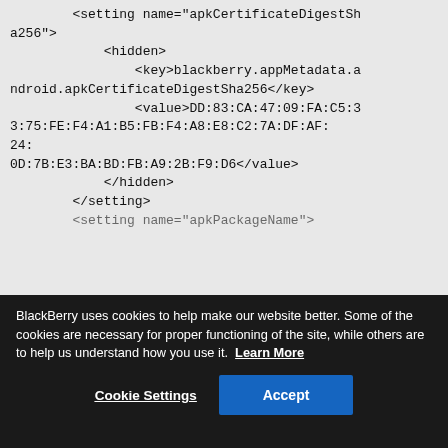<setting name="apkCertificateDigestSha256">
            <hidden>
                <key>blackberry.appMetadata.android.apkCertificateDigestSha256</key>
                <value>DD:83:CA:47:09:FA:C5:33:75:FE:F4:A1:B5:FB:F4:A8:E8:C2:7A:DF:AF:24:
0D:7B:E3:BA:BD:FB:A9:2B:F9:D6</value>
            </hidden>
        </setting>
        <setting name="apkPackageName">
BlackBerry uses cookies to help make our website better. Some of the cookies are necessary for proper functioning of the site, while others are to help us understand how you use it.  Learn More
Cookie Settings
Accept